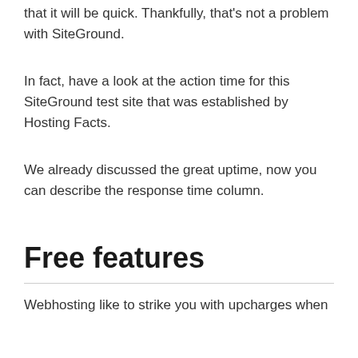that it will be quick. Thankfully, that's not a problem with SiteGround.
In fact, have a look at the action time for this SiteGround test site that was established by Hosting Facts.
We already discussed the great uptime, now you can describe the response time column.
Free features
Webhosting like to strike you with upcharges when